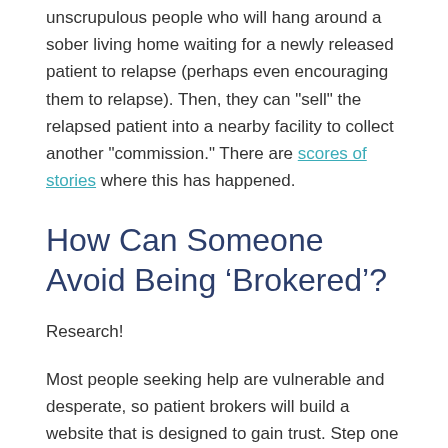unscrupulous people who will hang around a sober living home waiting for a newly released patient to relapse (perhaps even encouraging them to relapse). Then, they can "sell" the relapsed patient into a nearby facility to collect another "commission." There are scores of stories where this has happened.
How Can Someone Avoid Being ‘Brokered’?
Research!
Most people seeking help are vulnerable and desperate, so patient brokers will build a website that is designed to gain trust. Step one is to try to avoid a patient broker